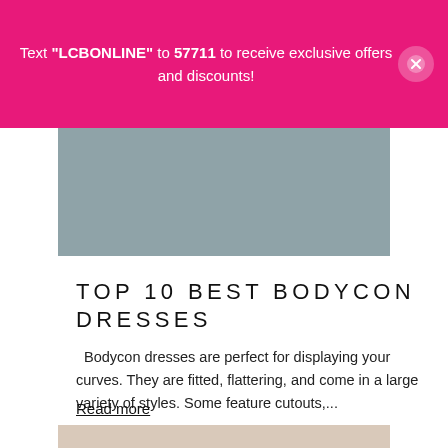Text "LCBONLINE" to 57711 to receive exclusive offers and discounts!
[Figure (photo): Gray rectangular image placeholder at top of article]
TOP 10 BEST BODYCON DRESSES
Bodycon dresses are perfect for displaying your curves. They are fitted, flattering, and come in a large variety of styles. Some feature cutouts,...
Read more
[Figure (photo): Beige/tan rectangular image placeholder at bottom of page]